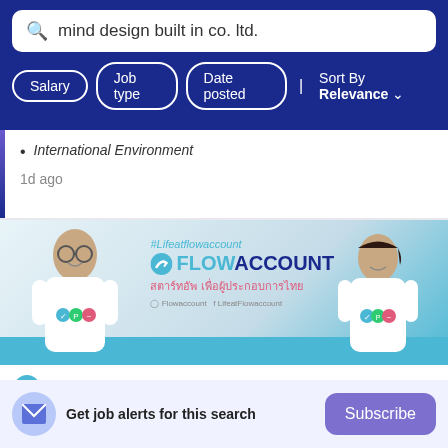[Figure (screenshot): Search bar with query 'mind design built in co. ltd.' on dark blue background with filter buttons: Salary, Job type, Date posted, and Sort By Relevance]
International Environment
1d ago
[Figure (photo): FlowAccount company banner with two employees wearing branded t-shirts, hashtag #Lifeatflowaccount, company logo FLOWACCOUNT, Thai text, and blue bottom bar]
[Figure (logo): FlowAccount logo with teal checkmark icon]
Get job alerts for this search
Subscribe